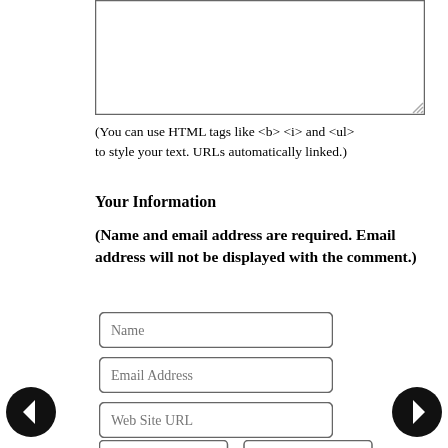[Figure (other): Textarea input box with resize handle in bottom-right corner]
(You can use HTML tags like <b> <i> and <ul> to style your text. URLs automatically linked.)
Your Information
(Name and email address are required. Email address will not be displayed with the comment.)
[Figure (other): Text input field labeled 'Name']
[Figure (other): Text input field labeled 'Email Address']
[Figure (other): Text input field labeled 'Web Site URL']
[Figure (other): Two partial input fields at bottom of page]
[Figure (other): Left navigation arrow button (back)]
[Figure (other): Right navigation arrow button (forward)]